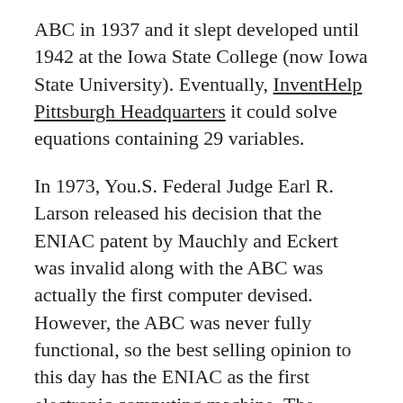ABC in 1937 and it slept developed until 1942 at the Iowa State College (now Iowa State University). Eventually, InventHelp Pittsburgh Headquarters it could solve equations containing 29 variables.
In 1973, You.S. Federal Judge Earl R. Larson released his decision that the ENIAC patent by Mauchly and Eckert was invalid along with the ABC was actually the first computer devised. However, the ABC was never fully functional, so the best selling opinion to this day has the ENIAC as the first electronic computing machine. The Smithsonian Institute's Museum of American History in Washington displays most of the things remains of the ENIAC, alongside waste the ABC.
However, there's another twist to this tale. The easiest computer is an electronic device designed to adopt data, perform prescribed mathematical and